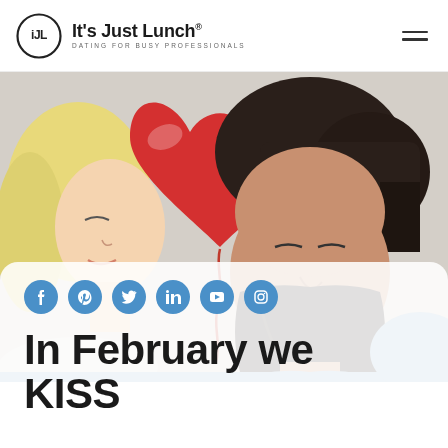It's Just Lunch® — DATING FOR BUSY PROFESSIONALS
[Figure (photo): A couple about to kiss with a red heart-shaped balloon between them, on a light grey background.]
Social media share icons: Facebook, Pinterest, Twitter, LinkedIn, YouTube, Instagram
In February we KISS